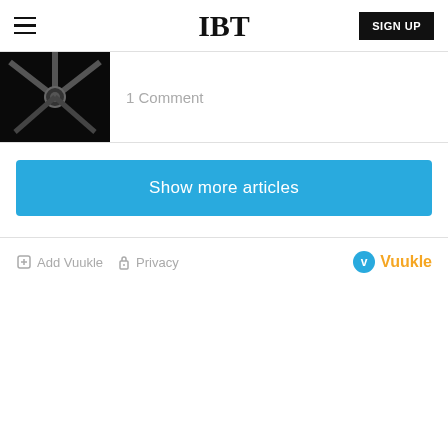IBT
[Figure (photo): Dark image showing metallic spokes or mechanical components]
1 Comment
Show more articles
Add Vuukle   Privacy   Vuukle